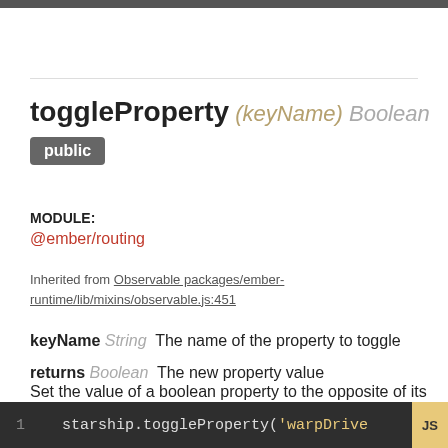toggleProperty (keyName) Boolean
public
MODULE:
@ember/routing
Inherited from Observable packages/ember-runtime/lib/mixins/observable.js:451
keyName String  The name of the property to toggle
returns Boolean  The new property value
Set the value of a boolean property to the opposite of its current value.
1   starship.toggleProperty('warpDrive  JS